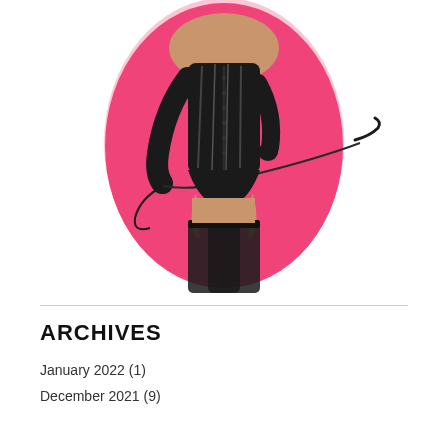[Figure (illustration): An illustration of a woman wearing a black latex/PVC corset, long black gloves, fishnet stockings, and holding a riding crop/whip. She is posed against a pink oval background with a white vignette shadow effect around it, set against a white page background.]
ARCHIVES
January 2022 (1)
December 2021 (9)